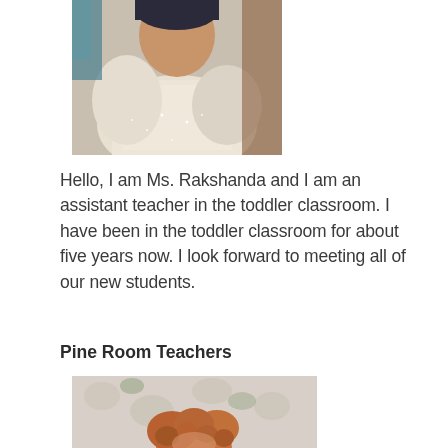[Figure (photo): Photo of Ms. Rakshanda, a woman wearing a white/cream outfit, cropped to show upper body, partial face visible at top]
Hello, I am Ms. Rakshanda and I am an assistant teacher in the toddler classroom. I have been in the toddler classroom for about five years now. I look forward to meeting all of our new students.
Pine Room Teachers
[Figure (photo): Photo of a person with reddish-brown curly hair, cropped showing top of head, in front of a floral/decorative background]